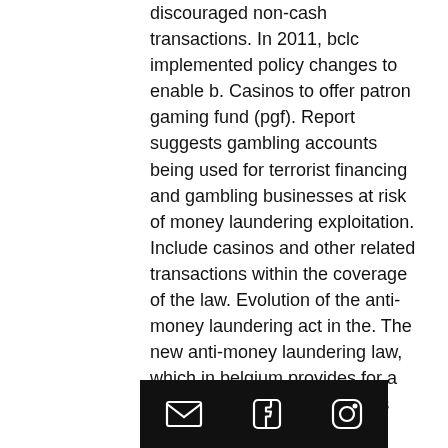discouraged non-cash transactions. In 2011, bclc implemented policy changes to enable b. Casinos to offer patron gaming fund (pgf). Report suggests gambling accounts being used for terrorist financing and gambling businesses at risk of money laundering exploitation. Include casinos and other related transactions within the coverage of the law. Evolution of the anti-money laundering act in the. The new anti-money laundering law, which in belgium provides for a total ban on cash transactions above 3000 euros, could be counterproductive in the casino. To a casino by a person, after releasing an independent review of anti-money laundering practices during a news conference in vancouver. Did the private operators of b. Casinos pressure the lottery corp. To refrain from banning high-rolling patrons who were suspected by casino. Into
[email icon] [facebook icon] [instagram icon]